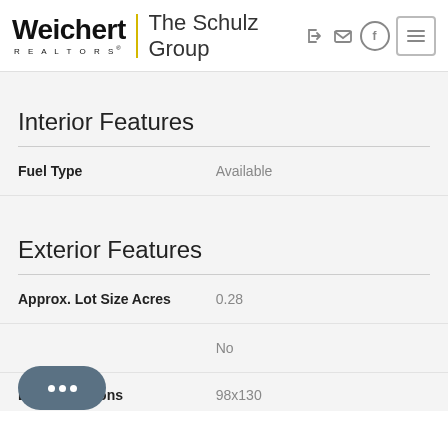[Figure (logo): Weichert Realtors logo with yellow divider and 'The Schulz Group' text, plus navigation icons]
Interior Features
| Feature | Value |
| --- | --- |
| Fuel Type | Available |
Exterior Features
| Feature | Value |
| --- | --- |
| Approx. Lot Size Acres | 0.28 |
|  | No |
| Lot Dimensions | 98x130 |